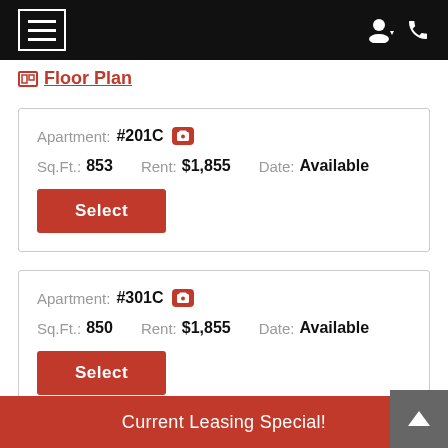Navigation bar with hamburger menu, user icon, and phone icon
Floor Plan
Apartment: #201C  Sq.Ft.: 853  Rent: $1,855  Date: Available
Select
Apartment: #301C  Sq.Ft.: 850  Rent: $1,855  Date: Available
Select
Current Leasing Special!